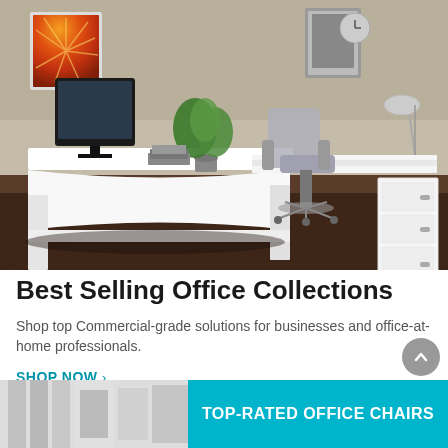[Figure (photo): Photo of a modern white L-shaped office desk set with a monitor, plant, books, chair, and filing cabinet in a professional office environment with dark wood floors and neutral walls]
Best Selling Office Collections
Shop top Commercial-grade solutions for businesses and office-at-home professionals.
SHOP NOW ›
[Figure (photo): Partial image of office furniture at the bottom left]
[Figure (infographic): Teal/cyan banner reading TOP-RATED OFFICE CHAIRS]